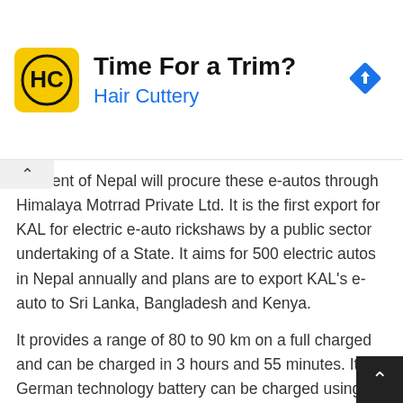[Figure (infographic): Advertisement banner for Hair Cuttery. Yellow square logo with HC initials, heading 'Time For a Trim?', subtitle 'Hair Cuttery' in blue, and a blue diamond navigation arrow icon on the right.]
ernment of Nepal will procure these e-autos through Himalaya Motrrad Private Ltd. It is the first export for KAL for electric e-auto rickshaws by a public sector undertaking of a State. It aims for 500 electric autos in Nepal annually and plans are to export KAL's e-auto to Sri Lanka, Bangladesh and Kenya.
It provides a range of 80 to 90 km on a full charged and can be charged in 3 hours and 55 minutes. Its German technology battery can be charged using a three-pin plug.
'Kerala Neem G' auto-rickshaws is priced at ₹2.85 lakh.